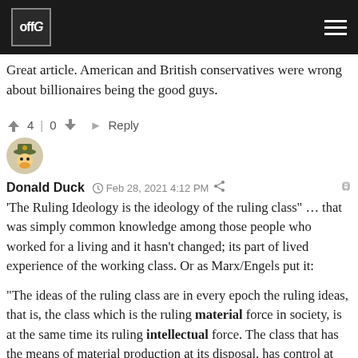offG
Great article. American and British conservatives were wrong about billionaires being the good guys.
4  0    Reply
[Figure (illustration): User avatar: cartoon character resembling Donald Duck with ranger hat]
Donald Duck  Feb 28, 2021 4:12 PM
'The Ruling Ideology is the ideology of the ruling class" … that was simply common knowledge among those people who worked for a living and it hasn't changed; its part of lived experience of the working class. Or as Marx/Engels put it:
"The ideas of the ruling class are in every epoch the ruling ideas, that is, the class which is the ruling material force in society, is at the same time its ruling intellectual force. The class that has the means of material production at its disposal, has control at the